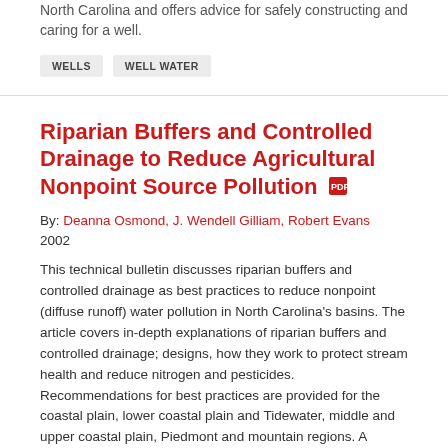North Carolina and offers advice for safely constructing and caring for a well.
WELLS
WELL WATER
Riparian Buffers and Controlled Drainage to Reduce Agricultural Nonpoint Source Pollution
By: Deanna Osmond, J. Wendell Gilliam, Robert Evans
2002
This technical bulletin discusses riparian buffers and controlled drainage as best practices to reduce nonpoint (diffuse runoff) water pollution in North Carolina's basins. The article covers in-depth explanations of riparian buffers and controlled drainage; designs, how they work to protect stream health and reduce nitrogen and pesticides. Recommendations for best practices are provided for the coastal plain, lower coastal plain and Tidewater, middle and upper coastal plain, Piedmont and mountain regions. A glossary of terms is included.